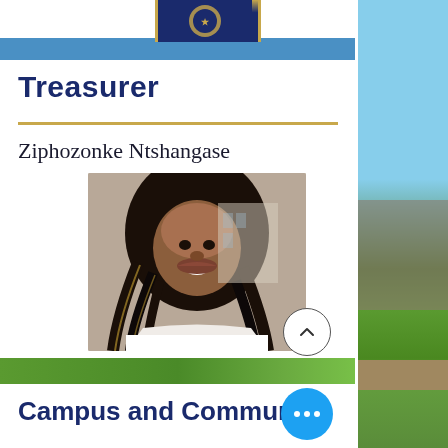Treasurer
Ziphozonke Ntshangase
[Figure (photo): Portrait photo of Ziphozonke Ntshangase, a young woman smiling with braided hair, wearing a white shirt, photographed outdoors near a building]
Campus and Community